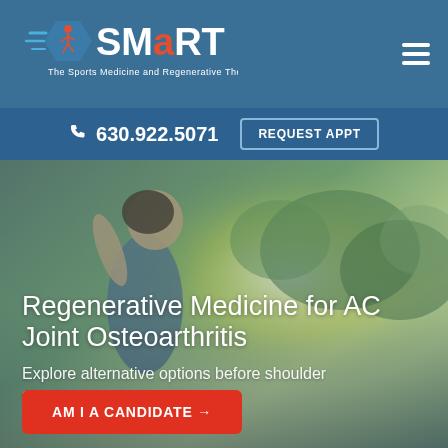SMaRT – The Sports Medicine and Regenerative Therapeutics Institute
630.922.5071  REQUEST APPT
[Figure (photo): Woman runner holding shoulder, outdoor background with blurred greenery and sunlight]
Regenerative Medicine for AC Joint Osteoarthritis
Explore alternative options before shoulder surgery.
AM I A CANDIDATE →